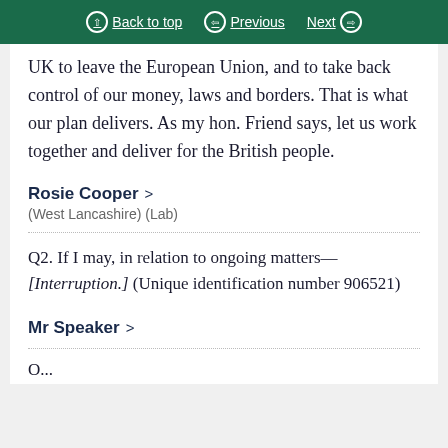Back to top | Previous | Next
UK to leave the European Union, and to take back control of our money, laws and borders. That is what our plan delivers. As my hon. Friend says, let us work together and deliver for the British people.
Rosie Cooper
(West Lancashire) (Lab)
Q2. If I may, in relation to ongoing matters— [Interruption.] (Unique identification number 906521)
Mr Speaker
O...